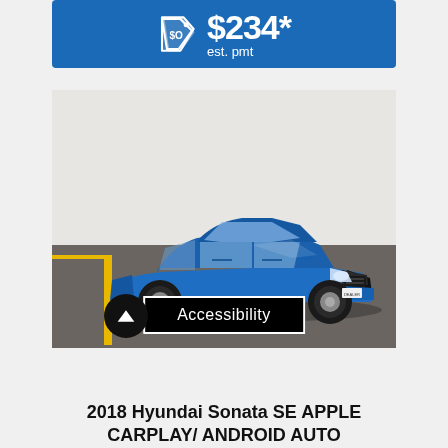[Figure (other): Blue price banner with tag icon showing $234* est. pmt on blue background]
[Figure (photo): 2018 Hyundai Sonata SE in blue color, photographed in a dealership, three-quarter front view]
Accessibility
2018 Hyundai Sonata SE APPLE CARPLAY/ ANDROID AUTO